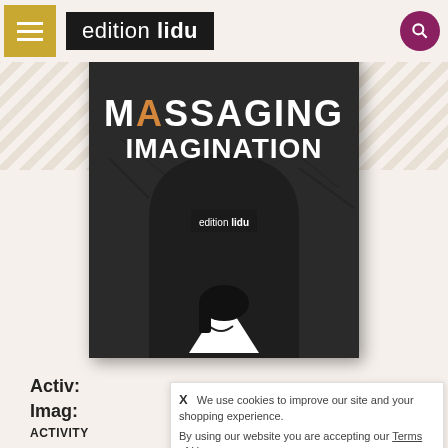edition lidu
[Figure (photo): Book cover of 'Massaging Imagination' published by edition lidu, showing dark textured background with white stylized text title and a small illustrated character at the bottom]
Activ:
Imag:
ACTIVITY
X  We use cookies to improve our site and your shopping experience.
By using our website you are accepting our Terms of Use